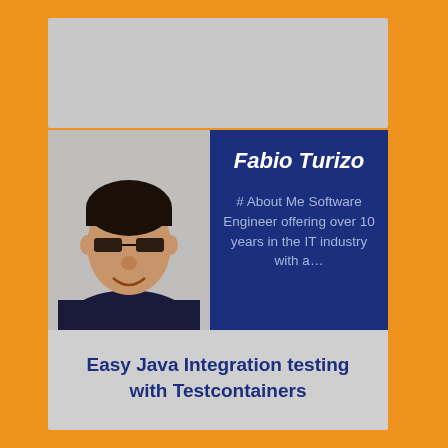[Figure (photo): Headshot photo of Fabio Turizo, a man with glasses wearing a dark hoodie, smiling]
Fabio Turizo
# About Me Software Engineer offering over 10 years in the IT industry with a...
Easy Java Integration testing with Testcontainers